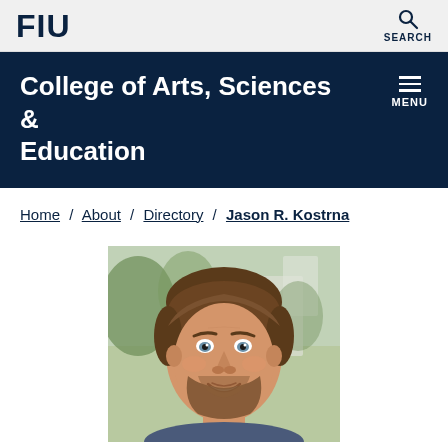FIU | SEARCH
College of Arts, Sciences & Education
Home / About / Directory / Jason R. Kostrna
[Figure (photo): Headshot photo of Jason R. Kostrna, a man with brown hair and beard, smiling, outdoor background with blurred trees and buildings]